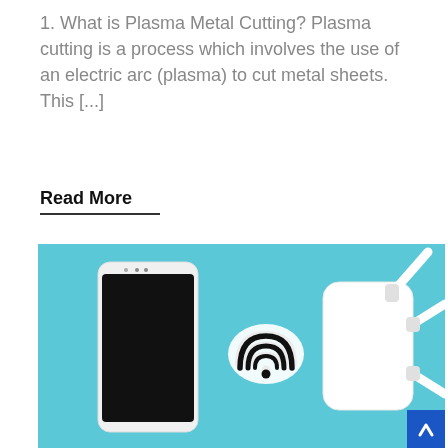1. What is Plasma Metal Cutting? Plasma cutting is a process which involves the use of an electric arc (plasma) to cut metal sheets. This [...]
Read More
[Figure (photo): A flat-lay photo on a blue background showing a smartphone with a black screen, a WiFi symbol icon, and a white WiFi router with three antennas. A blue 'back to top' arrow button is in the bottom-right corner.]